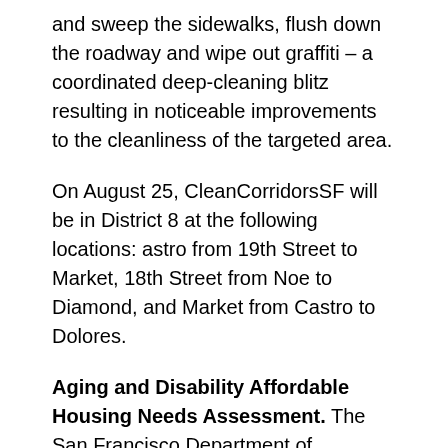and sweep the sidewalks, flush down the roadway and wipe out graffiti – a coordinated deep-cleaning blitz resulting in noticeable improvements to the cleanliness of the targeted area.
On August 25, CleanCorridorsSF will be in District 8 at the following locations: astro from 19th Street to Market, 18th Street from Noe to Diamond, and Market from Castro to Dolores.
Aging and Disability Affordable Housing Needs Assessment. The San Francisco Department of Disability and Aging Services wants to hear from you! The department is currently gathering community input on the affordable housing needs of older people and adults with disabilities as part of the 2022 Aging and Disability Affordable Housing Needs Assessment. Visit sfhsa.org/housing to take the survey and register for a virtual or in-person